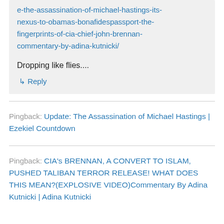e-the-assassination-of-michael-hastings-its-nexus-to-obamas-bonafidespassport-the-fingerprints-of-cia-chief-john-brennan-commentary-by-adina-kutnicki/
Dropping like flies....
↳ Reply
Pingback: Update: The Assassination of Michael Hastings | Ezekiel Countdown
Pingback: CIA's BRENNAN, A CONVERT TO ISLAM, PUSHED TALIBAN TERROR RELEASE! WHAT DOES THIS MEAN?(EXPLOSIVE VIDEO)Commentary By Adina Kutnicki | Adina Kutnicki